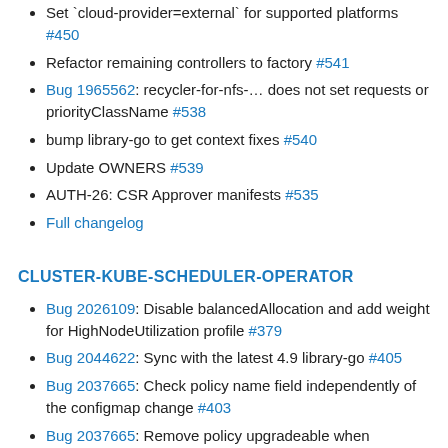Set `cloud-provider=external` for supported platforms #450
Refactor remaining controllers to factory #541
Bug 1965562: recycler-for-nfs-… does not set requests or priorityClassName #538
bump library-go to get context fixes #540
Update OWNERS #539
AUTH-26: CSR Approver manifests #535
Full changelog
CLUSTER-KUBE-SCHEDULER-OPERATOR
Bug 2026109: Disable balancedAllocation and add weight for HighNodeUtilization profile #379
Bug 2044622: Sync with the latest 4.9 library-go #405
Bug 2037665: Check policy name field independently of the configmap change #403
Bug 2037665: Remove policy upgradeable when